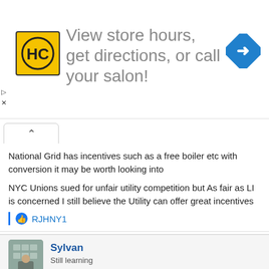[Figure (other): Advertisement banner: HC logo (yellow square with HC letters), text 'View store hours, get directions, or call your salon!', blue diamond arrow icon. Play and X controls on left side.]
National Grid has incentives such as a free boiler etc with conversion it may be worth looking into
NYC Unions sued for unfair utility competition but As fair as LI is concerned I still believe the Utility can offer great incentives
RJHNY1
[Figure (photo): Avatar photo of user Sylvan, showing a person in a room with shelves]
Sylvan
Still learning
Apr 5, 2021
#7
https://www.nationalgridus.com/pronet/ee-programs-solutions/residential-rebates-incentives